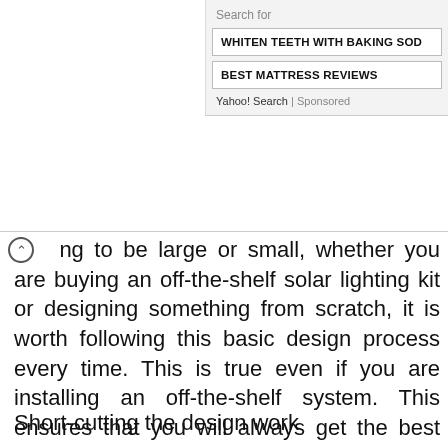Search for
WHITEN TEETH WITH BAKING SOD
BEST MATTRESS REVIEWS
Yahoo! Search | Sponsored
g to be large or small, whether you are buying an off-the-shelf solar lighting kit or designing something from scratch, it is worth following this basic design process every time. This is true even if you are installing an off-the-shelf system. This ensures that you will always get the best from your system and will provide you with the reassurance that your solar energy system will achieve everything you need it to do.
Short-cutting the design work